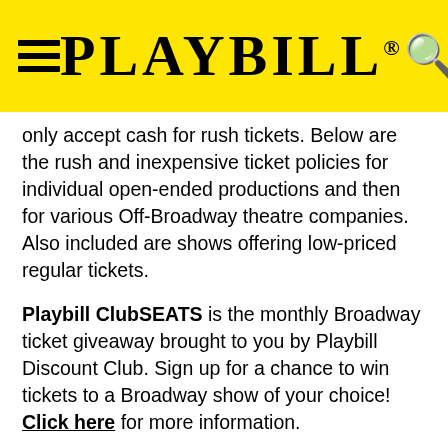PLAYBILL
only accept cash for rush tickets. Below are the rush and inexpensive ticket policies for individual open-ended productions and then for various Off-Broadway theatre companies. Also included are shows offering low-priced regular tickets.
Playbill ClubSEATS is the monthly Broadway ticket giveaway brought to you by Playbill Discount Club. Sign up for a chance to win tickets to a Broadway show of your choice! Click here for more information.
All Student Rush ticket purchases require a valid and current student ID. All Lottery Rush ticket purchases require a photo ID.
Note: Policies are subject to change without notice. Please